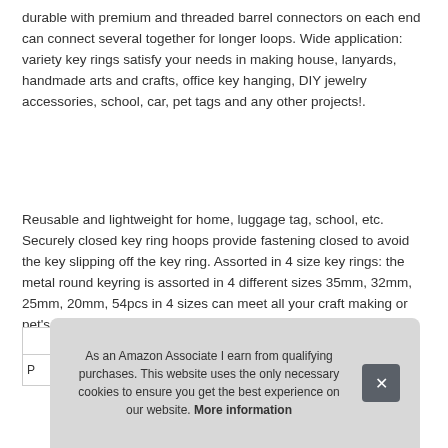durable with premium and threaded barrel connectors on each end can connect several together for longer loops. Wide application: variety key rings satisfy your needs in making house, lanyards, handmade arts and crafts, office key hanging, DIY jewelry accessories, school, car, pet tags and any other projects!.
Reusable and lightweight for home, luggage tag, school, etc. Securely closed key ring hoops provide fastening closed to avoid the key slipping off the key ring. Assorted in 4 size key rings: the metal round keyring is assorted in 4 different sizes 35mm, 32mm, 25mm, 20mm, 54pcs in 4 sizes can meet all your craft making or pet's lable hanging needs.
As an Amazon Associate I earn from qualifying purchases. This website uses the only necessary cookies to ensure you get the best experience on our website. More information